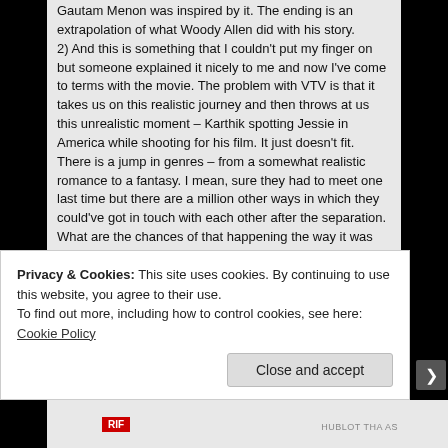Gautam Menon was inspired by it. The ending is an extrapolation of what Woody Allen did with his story.
2) And this is something that I couldn't put my finger on but someone explained it nicely to me and now I've come to terms with the movie. The problem with VTV is that it takes us on this realistic journey and then throws at us this unrealistic moment – Karthik spotting Jessie in America while shooting for his film. It just doesn't fit. There is a jump in genres – from a somewhat realistic romance to a fantasy. I mean, sure they had to meet one last time but there are a million other ways in which they could've got in touch with each other after the separation. What are the chances of that happening the way it was shown in the movie? The movie was almost subtle till that point. It became melodramatic
Privacy & Cookies: This site uses cookies. By continuing to use this website, you agree to their use.
To find out more, including how to control cookies, see here: Cookie Policy
Close and accept